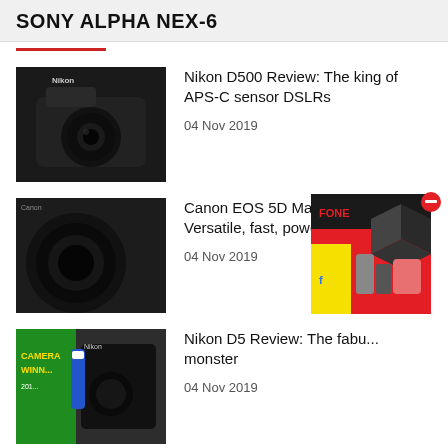SONY ALPHA NEX-6
Nikon D500 Review: The king of APS-C sensor DSLRs
04 Nov 2019
Canon EOS 5D Mark IV Review: Versatile, fast, powerful
04 Nov 2019
Nikon D5 Review: The fabu... monster
04 Nov 2019
Nikon D3400 Review: A neat incremental...